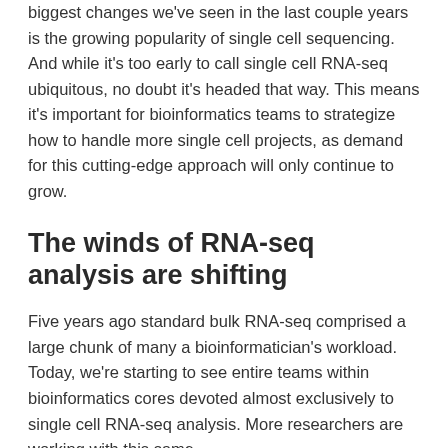biggest changes we've seen in the last couple years is the growing popularity of single cell sequencing. And while it's too early to call single cell RNA-seq ubiquitous, no doubt it's headed that way. This means it's important for bioinformatics teams to strategize how to handle more single cell projects, as demand for this cutting-edge approach will only continue to grow.
The winds of RNA-seq analysis are shifting
Five years ago standard bulk RNA-seq comprised a large chunk of many a bioinformatician's workload. Today, we're starting to see entire teams within bioinformatics cores devoted almost exclusively to single cell RNA-seq analysis. More researchers are working with this same...